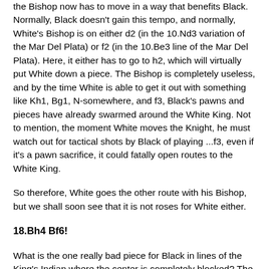the Bishop now has to move in a way that benefits Black. Normally, Black doesn't gain this tempo, and normally, White's Bishop is on either d2 (in the 10.Nd3 variation of the Mar Del Plata) or f2 (in the 10.Be3 line of the Mar Del Plata). Here, it either has to go to h2, which will virtually put White down a piece. The Bishop is completely useless, and by the time White is able to get it out with something like Kh1, Bg1, N-somewhere, and f3, Black's pawns and pieces have already swarmed around the White King. Not to mention, the moment White moves the Knight, he must watch out for tactical shots by Black of playing ...f3, even if it's a pawn sacrifice, it could fatally open routes to the White King.
So therefore, White goes the other route with his Bishop, but we shall soon see that it is not roses for White either.
18.Bh4 Bf6!
What is the one really bad piece for Black in lines of the King's Indian where the center is completely blocked? The Dark-Squared Bishop! What has Black just done here? Forced the trade of Dark-Squared Bishops! With Black's attack, he absolutely does not want an endgame, but if there